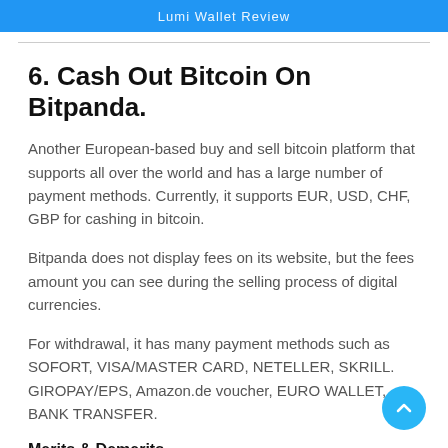Lumi Wallet Review
6. Cash Out Bitcoin On Bitpanda.
Another European-based buy and sell bitcoin platform that supports all over the world and has a large number of payment methods. Currently, it supports EUR, USD, CHF, GBP for cashing in bitcoin.
Bitpanda does not display fees on its website, but the fees amount you can see during the selling process of digital currencies.
For withdrawal, it has many payment methods such as SOFORT, VISA/MASTER CARD, NETELLER, SKRILL. GIROPAY/EPS, Amazon.de voucher, EURO WALLET, BANK TRANSFER.
Merits & Demerits.